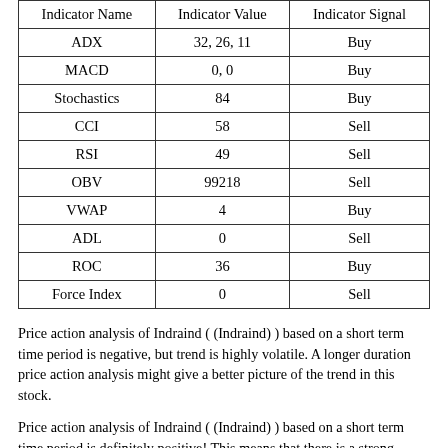| Indicator Name | Indicator Value | Indicator Signal |
| --- | --- | --- |
| ADX | 32, 26, 11 | Buy |
| MACD | 0, 0 | Buy |
| Stochastics | 84 | Buy |
| CCI | 58 | Sell |
| RSI | 49 | Sell |
| OBV | 99218 | Sell |
| VWAP | 4 | Buy |
| ADL | 0 | Sell |
| ROC | 36 | Buy |
| Force Index | 0 | Sell |
Price action analysis of Indraind ( (Indraind) ) based on a short term time period is negative, but trend is highly volatile. A longer duration price action analysis might give a better picture of the trend in this stock.
Price action analysis of Indraind ( (Indraind) ) based on a short term time period is definitely positive! This means that there is a strong uptrend in the stock for the given time period. Buyers are extremely bullish on the stock.